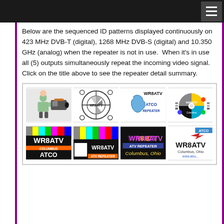Below are the sequenced ID patterns displayed continuously on 423 MHz DVB-T (digital), 1268 MHz DVB-S (digital) and 10.350 GHz (analog) when the repeater is not in use.  When it's in use all (5) outputs simultaneously repeat the incoming video signal.  Click on the title above to see the repeater detail summary.
[Figure (illustration): A 4x2 grid of WR8ATV ATCO repeater ID pattern images including: camera operator illustration, WR8ATV test pattern circle, WR8ATV ATCO Repeater Ohio map logo, WR8ATV Columbus CD/disc logo, WR8ATV Columbus ATCO color bars logo, WR8ATV ATV Repeater color bars, WR8ATV ATV Repeater Columbus Ohio logo, WR8ATV Columbus Ohio www.atco... logo]